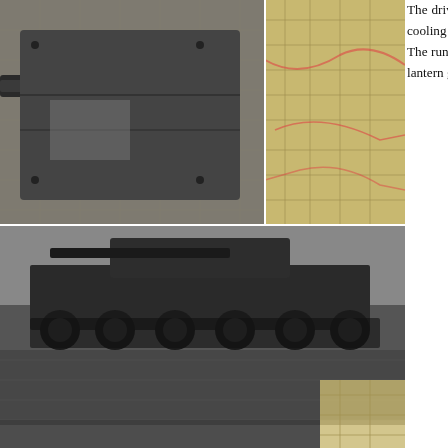[Figure (photo): Collection of black-and-white photographs of tanks and soldiers, arranged in a grid on the left side of the page. Top: close-up of tank gun/hull with map background. Middle-top: tank in field. Middle: soldiers with tank and map background. Bottom: close-up of tank gun/hull with map.]
The driver and radio operator were located one behind another. They were housed in a special hull with its own cooling system. This strange layout meant that the radio operator had to use a hatch in the engine compartment. The running gear was similar to the T-34, but the drive sprocket and idler were different, and a used rather than a lantern gear.
[Figure (engineering-diagram): Technical line drawing of a tank shown in side profile (top) and front/top view (bottom). The side view shows the tank's hull, turret with long gun, road wheels, drive sprocket, idler, and track. The lower view shows a front/plan view with label 'D'.]